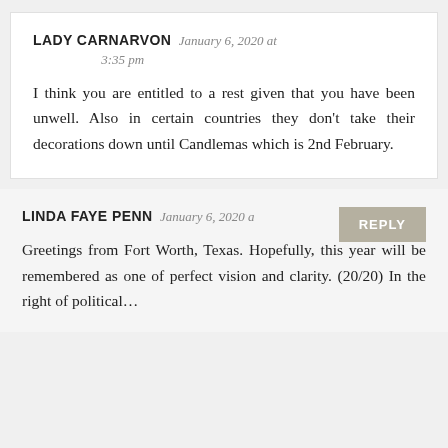LADY CARNARVON January 6, 2020 at 3:35 pm
I think you are entitled to a rest given that you have been unwell. Also in certain countries they don't take their decorations down until Candlemas which is 2nd February.
LINDA FAYE PENN January 6, 2020 a…
Greetings from Fort Worth, Texas. Hopefully, this year will be remembered as one of perfect vision and clarity. (20/20) In the right of political…